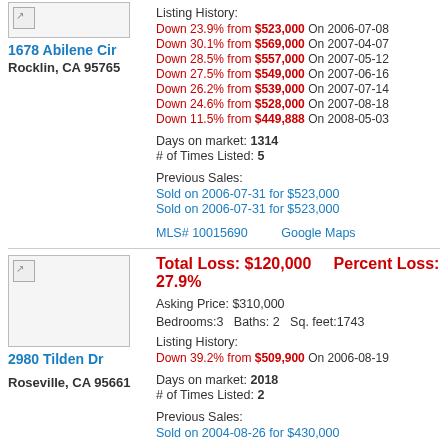[Figure (photo): Property photo placeholder for 1678 Abilene Cir (top, partially cropped)]
1678 Abilene Cir
Rocklin, CA 95765
Listing History:
Down 23.9% from $523,000 On 2006-07-08
Down 30.1% from $569,000 On 2007-04-07
Down 28.5% from $557,000 On 2007-05-12
Down 27.5% from $549,000 On 2007-06-16
Down 26.2% from $539,000 On 2007-07-14
Down 24.6% from $528,000 On 2007-08-18
Down 11.5% from $449,888 On 2008-05-03
Days on market: 1314
# of Times Listed: 5
Previous Sales:
Sold on 2006-07-31 for $523,000
Sold on 2006-07-31 for $523,000
MLS# 10015690    Google Maps
[Figure (photo): Property photo placeholder for 2980 Tilden Dr]
Total Loss: $120,000    Percent Loss: 27.9%
Asking Price: $310,000
Bedrooms:3   Baths: 2   Sq. feet:1743
Listing History:
Down 39.2% from $509,900 On 2006-08-19
2980 Tilden Dr
Roseville, CA 95661
Days on market: 2018
# of Times Listed: 2
Previous Sales:
Sold on 2004-08-26 for $430,000
MLS# 10015797    Google Maps